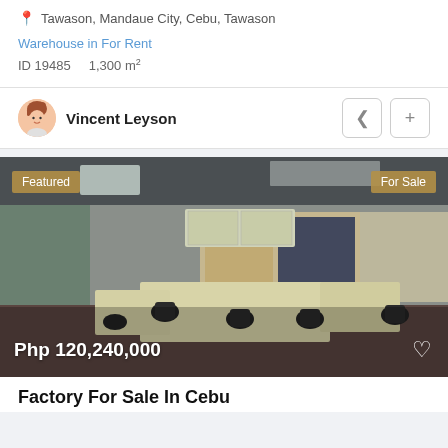Tawason, Mandaue City, Cebu, Tawason
Warehouse in For Rent
ID 19485    1,300 m²
Vincent Leyson
[Figure (photo): Interior office/factory space with workstations, office chairs, cabinets, and windows with blinds. Price overlay: Php 120,240,000. Badges: Featured, For Sale.]
Factory For Sale In Cebu